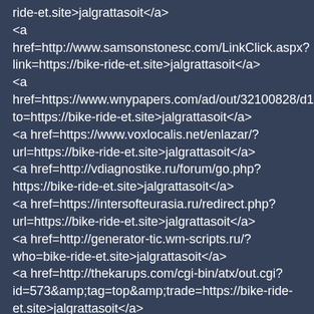ride-et.site&gt;jalgrattasoit&lt;/a&gt; &lt;a href=http://www.samsonstonesc.com/LinkClick.aspx?link=https://bike-ride-et.site&gt;jalgrattasoit&lt;/a&gt; &lt;a href=https://www.wnypapers.com/ad/out/32100828/d1cfc72c310 to=https://bike-ride-et.site&gt;jalgrattasoit&lt;/a&gt; &lt;a href=https://www.voxlocalis.net/enlazar/?url=https://bike-ride-et.site&gt;jalgrattasoit&lt;/a&gt; &lt;a href=http://vdiagnostike.ru/forum/go.php?https://bike-ride-et.site&gt;jalgrattasoit&lt;/a&gt; &lt;a href=https://intersofteurasia.ru/redirect.php?url=https://bike-ride-et.site&gt;jalgrattasoit&lt;/a&gt; &lt;a href=http://generator-tic.wm-scripts.ru/?who=bike-ride-et.site&gt;jalgrattasoit&lt;/a&gt; &lt;a href=http://thekarups.com/cgi-bin/atx/out.cgi?id=573&amp;tag=top&amp;trade=https://bike-ride-et.site&gt;jalgrattasoit&lt;/a&gt; &lt;a href=http://catalog.grad-nk.ru/click/?id=130002197&amp;id_town=0&amp;www=bike-ride-et.site&gt;jalgrattasoit&lt;/a&gt; &lt;a href=https://maps.google.co.ve/url?sa=t&amp;url=https://bike-ride-